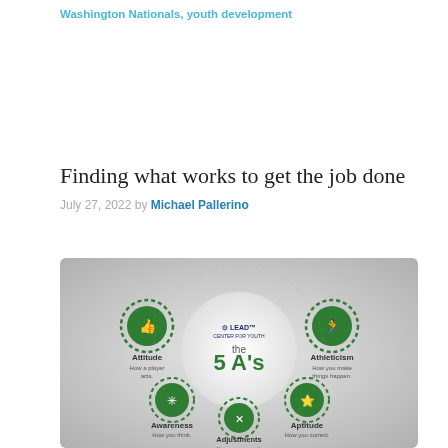Washington Nationals, youth development
Finding what works to get the job done
July 27, 2022 by Michael Pallerino
[Figure (infographic): Circular infographic showing the LEAD Center for Youth 'the 5 A's' framework with five labeled circles: Attitude (How a player acts), Athleticism (How you make things happen), Aptitude (How you correct), Adjustments (How you respond), Awareness (How you think). Each circle contains a green icon on a gray/white gradient background.]